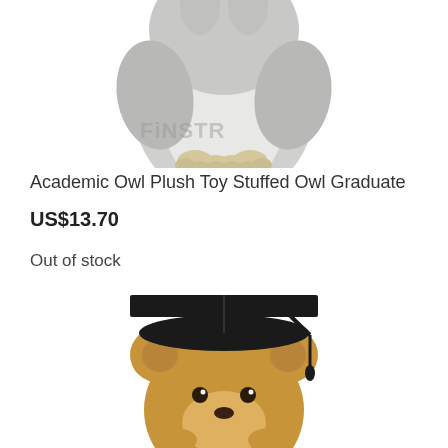[Figure (photo): Gray fluffy owl plush toy stuffed animal, front view, partial crop showing body and feet with watermark text 'FINSTR' partially visible]
Academic Owl Plush Toy Stuffed Owl Graduate
US$13.70
Out of stock
[Figure (other): Signal/bar chart icon with three bars of increasing height in gray]
[Figure (photo): Brown teddy bear plush toy wearing a black graduation mortarboard cap, partial crop showing head and upper body]